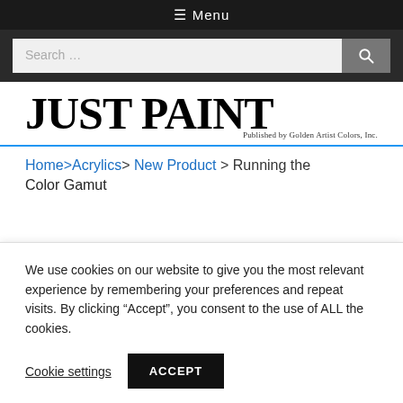☰ Menu
[Figure (screenshot): Search bar with text field showing 'Search ...' and a search button icon]
JUST PAINT
Published by Golden Artist Colors, Inc.
Home > Acrylics > New Product > Running the Color Gamut
We use cookies on our website to give you the most relevant experience by remembering your preferences and repeat visits. By clicking "Accept", you consent to the use of ALL the cookies.
Cookie settings  ACCEPT